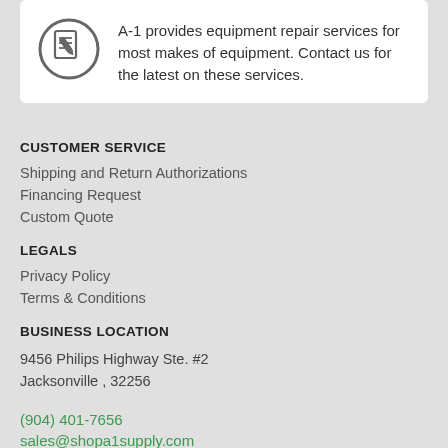[Figure (illustration): A circular icon with a document/clipboard and pencil symbol inside, outlined in dark gray on white background.]
A-1 provides equipment repair services for most makes of equipment. Contact us for the latest on these services.
CUSTOMER SERVICE
Shipping and Return Authorizations
Financing Request
Custom Quote
LEGALS
Privacy Policy
Terms & Conditions
BUSINESS LOCATION
9456 Philips Highway Ste. #2
Jacksonville , 32256
(904) 401-7656
sales@shopa1supply.com
GET DIRECTIONS